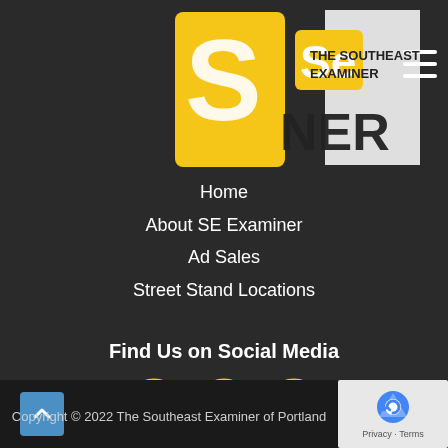[Figure (logo): The Southeast Examiner newspaper logo with yellow SE icon and black/white masthead text on dark background]
Home
About SE Examiner
Ad Sales
Street Stand Locations
Find Us on Social Media
[Figure (illustration): Three social media icons in yellow circles: LinkedIn, Twitter, Facebook]
Copyright © 2022 The Southeast Examiner of Portland